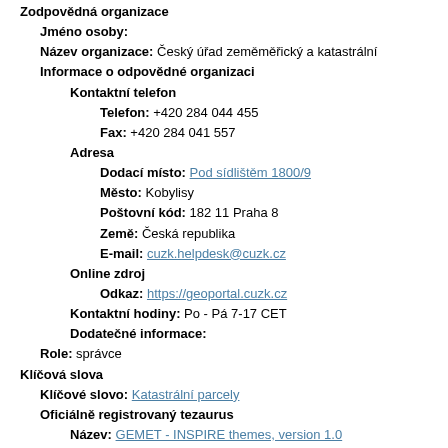Zodpovědná organizace
Jméno osoby:
Název organizace: Český úřad zeměměřický a katastrální
Informace o odpovědné organizaci
Kontaktní telefon
Telefon: +420 284 044 455
Fax: +420 284 041 557
Adresa
Dodací místo: Pod sídlištěm 1800/9
Město: Kobylisy
Poštovní kód: 182 11 Praha 8
Země: Česká republika
E-mail: cuzk.helpdesk@cuzk.cz
Online zdroj
Odkaz: https://geoportal.cuzk.cz
Kontaktní hodiny: Po - Pá 7-17 CET
Dodatečné informace:
Role: správce
Klíčová slova
Klíčové slovo: Katastrální parcely
Oficiálně registrovaný tezaurus
Název: GEMET - INSPIRE themes, version 1.0
Referenční datum
Referenční datum: 2008-06-01
Událost: zveřejnění
Organizace zodpovědná za tezaurus: